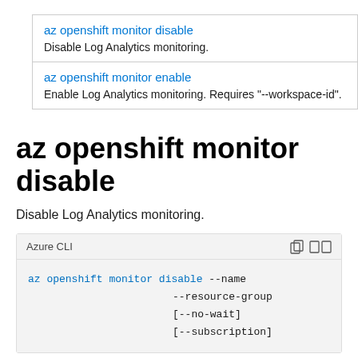| az openshift monitor disable | Disable Log Analytics monitoring. |
| az openshift monitor enable | Enable Log Analytics monitoring. Requires "--workspace-id". |
az openshift monitor disable
Disable Log Analytics monitoring.
Azure CLI
az openshift monitor disable --name
                             --resource-group
                             [--no-wait]
                             [--subscription]